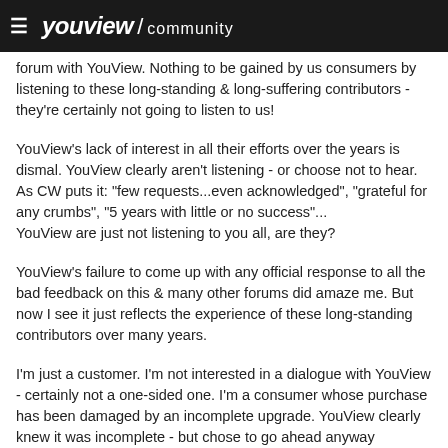youview / community
forum with YouView. Nothing to be gained by us consumers by listening to these long-standing & long-suffering contributors - they're certainly not going to listen to us!
YouView's lack of interest in all their efforts over the years is dismal. YouView clearly aren't listening - or choose not to hear. As CW puts it: "few requests...even acknowledged", "grateful for any crumbs", "5 years with little or no success"...
YouView are just not listening to you all, are they?
YouView's failure to come up with any official response to all the bad feedback on this & many other forums did amaze me. But now I see it just reflects the experience of these long-standing contributors over many years.
I'm just a customer. I'm not interested in a dialogue with YouView - certainly not a one-sided one. I'm a consumer whose purchase has been damaged by an incomplete upgrade. YouView clearly knew it was incomplete - but chose to go ahead anyway (presumably for commercial)